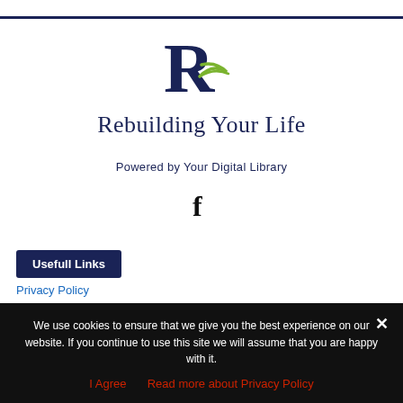[Figure (logo): Rebuilding Your Life logo: stylized letter R with a green swoosh accent, above the text 'Rebuilding Your Life' in dark navy serif font]
Powered by Your Digital Library
[Figure (other): Facebook 'f' icon in dark/black color]
Usefull Links
Privacy Policy
We use cookies to ensure that we give you the best experience on our website. If you continue to use this site we will assume that you are happy with it.
I Agree   Read more about Privacy Policy